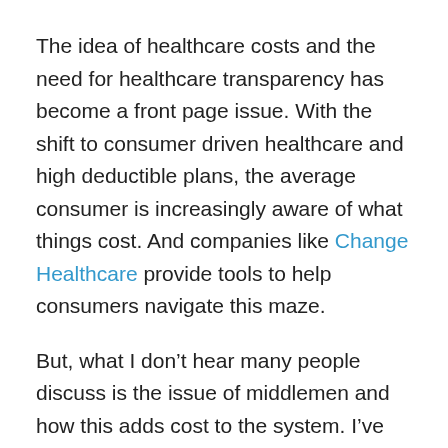The idea of healthcare costs and the need for healthcare transparency has become a front page issue. With the shift to consumer driven healthcare and high deductible plans, the average consumer is increasingly aware of what things cost. And companies like Change Healthcare provide tools to help consumers navigate this maze.
But, what I don’t hear many people discuss is the issue of middlemen and how this adds cost to the system. I’ve worked for several middlemen so I think I understand the model well. Of course, these companies make good (and true) arguments which is that they lower costs due to scale based efficiencies. But, healthcare is big business so everyone has to get paid somehow. Some of the “non-profits” make the most money.
Let’s look at prescription drugs: